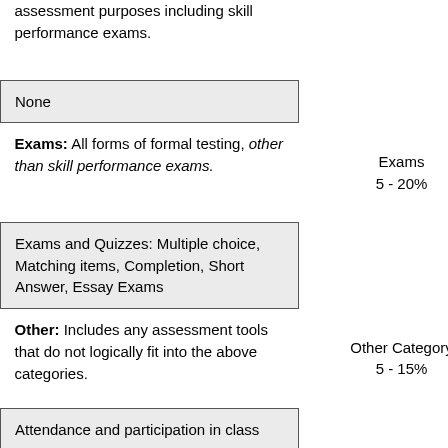| Description | Category/Weight |
| --- | --- |
| assessment purposes including skill performance exams. |  |
| None |  |
| Exams: All forms of formal testing, other than skill performance exams. | Exams
5 - 20% |
| Exams and Quizzes: Multiple choice, Matching items, Completion, Short Answer, Essay Exams |  |
| Other: Includes any assessment tools that do not logically fit into the above categories. | Other Category
5 - 15% |
| Attendance and participation in class |  |